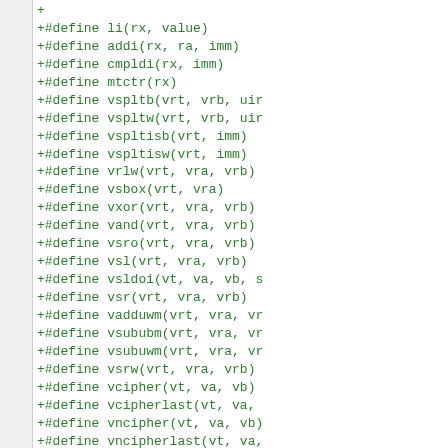+
+#define li(rx, value)
+#define addi(rx, ra, imm)
+#define cmpldi(rx, imm)
+#define mtctr(rx)
+#define vspltb(vrt, vrb, uim)
+#define vspltw(vrt, vrb, uim)
+#define vspltisb(vrt, imm)
+#define vspltisw(vrt, imm)
+#define vrlw(vrt, vra, vrb)
+#define vsbox(vrt, vra)
+#define vxor(vrt, vra, vrb)
+#define vand(vrt, vra, vrb)
+#define vsro(vrt, vra, vrb)
+#define vsl(vrt, vra, vrb)
+#define vsldoi(vt, va, vb, s
+#define vsr(vrt, vra, vrb)
+#define vadduwm(vrt, vra, vr
+#define vsububm(vrt, vra, vr
+#define vsubuwm(vrt, vra, vr
+#define vsrw(vrt, vra, vrb)
+#define vcipher(vt, va, vb)
+#define vcipherlast(vt, va,
+#define vncipher(vt, va, vb)
+#define vncipherlast(vt, va,
+#define vperm(vt, va, vb, vc
+#define vpmsumd(vt, va, vb)
+#define xxpermdi(vt, va, vb,
+
+#define lxvw4x_(xt, ra, rb)
+#define stxvw4x_(xt, ra, rb)
+
+#define label(foo)